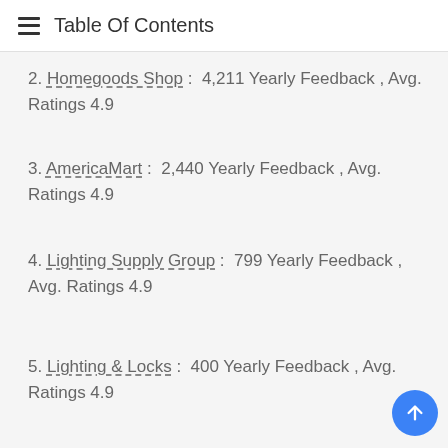Table Of Contents
2. Homegoods Shop :  4,211 Yearly Feedback , Avg. Ratings 4.9
3. AmericaMart :  2,440 Yearly Feedback , Avg. Ratings 4.9
4. Lighting Supply Group :  799 Yearly Feedback , Avg. Ratings 4.9
5. Lighting & Locks :  400 Yearly Feedback , Avg. Ratings 4.9
6. Amazon.com :  386 Yearly Feedback , Avg. Ratings 4.7